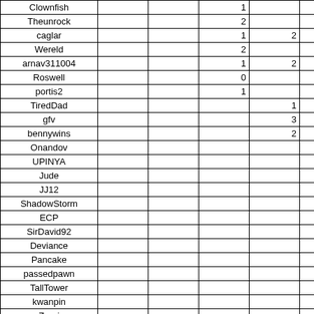| Name |  |  |  |  |  |
| --- | --- | --- | --- | --- | --- |
| Clownfish |  |  | 1 |  |  |
| Theunrock |  |  | 2 |  |  |
| caglar |  |  | 1 | 2 |  |
| Wereld |  |  | 2 |  |  |
| arnav311004 |  |  | 1 | 2 |  |
| Roswell |  |  | 0 |  |  |
| portis2 |  |  | 1 |  |  |
| TiredDad |  |  |  | 1 |  |
| gfv |  |  |  | 3 |  |
| bennywins |  |  |  | 2 |  |
| Onandov |  |  |  |  |  |
| UPINYA |  |  |  |  |  |
| Jude |  |  |  |  |  |
| JJ12 |  |  |  |  |  |
| ShadowStorm |  |  |  |  |  |
| ECP |  |  |  |  |  |
| SirDavid92 |  |  |  |  |  |
| Deviance |  |  |  |  |  |
| Pancake |  |  |  |  |  |
| passedpawn |  |  |  |  |  |
| TallTower |  |  |  |  |  |
| kwanpin |  |  |  |  |  |
| Zarni |  |  |  |  |  |